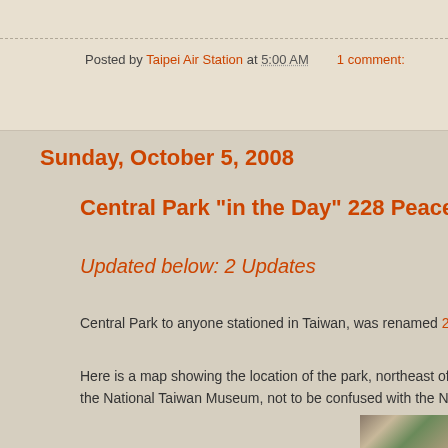Posted by Taipei Air Station at 5:00 AM    1 comment:
Sunday, October 5, 2008
Central Park "in the Day" 228 Peace Park Tod…
Updated below: 2 Updates
Central Park to anyone stationed in Taiwan, was renamed 228 Peac…
Here is a map showing the location of the park, northeast of the Pres… the National Taiwan Museum, not to be confused with the National P…
[Figure (photo): Aerial/satellite map image of park area in Taiwan]